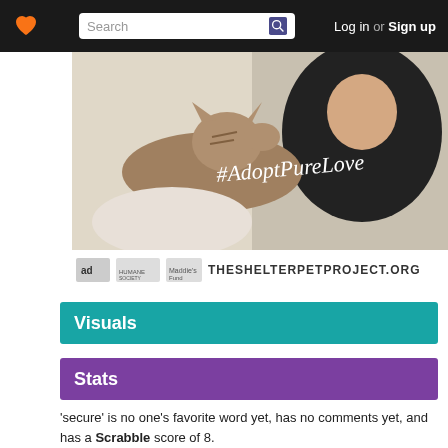Search | Log in or Sign up
[Figure (photo): Advertisement photo: man looking at a tabby cat with text '#AdoptPureLove' overlaid, with logos for Ad Council, Humane Society, Maddie's Fund and THESHELTERPETPROJECT.ORG below]
Visuals
Stats
'secure' is no one's favorite word yet, has no comments yet, and has a Scrabble score of 8.